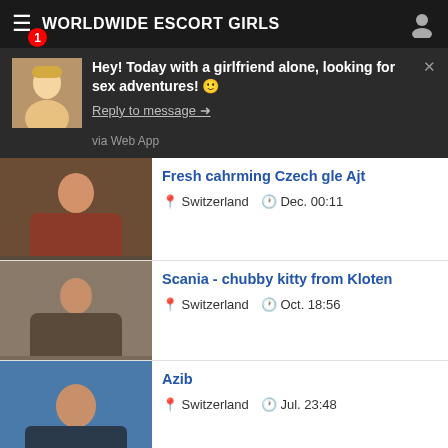WORLDWIDE ESCORT GIRLS
Hey! Today with a girlfriend alone, looking for sex adventures! 🙂
Reply to message →
via Web App
Fresh cahrming Czech gle Ajt — Switzerland — Dec. 00:11
Scania - chubby kitty from Kloten — Switzerland — Oct. 18:56
Azib — Switzerland — Jul. 23:48
New cahrming Portuguese beauty Anna Milena